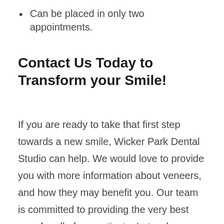Can be placed in only two appointments.
Contact Us Today to Transform your Smile!
If you are ready to take that first step towards a new smile, Wicker Park Dental Studio can help. We would love to provide you with more information about veneers, and how they may benefit you. Our team is committed to providing the very best care for all of our patients. Let us know how we can help you brighten your smile!